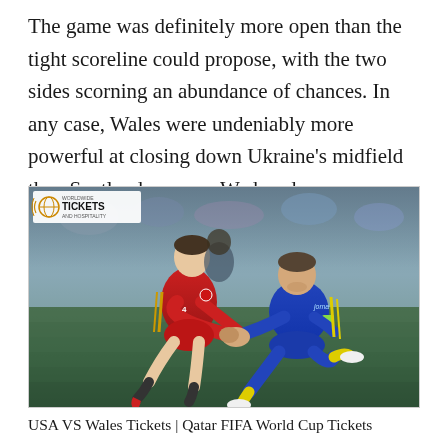The game was definitely more open than the tight scoreline could propose, with the two sides scorning an abundance of chances. In any case, Wales were undeniably more powerful at closing down Ukraine’s midfield than Scotland were on Wednesday.
[Figure (photo): A football player in a red Wales kit crouches down to assist an injured Ukraine player in blue and yellow kit on the grass. A Worldwide Tickets and Hospitality logo is visible in the top-left corner of the image.]
USA VS Wales Tickets | Qatar FIFA World Cup Tickets